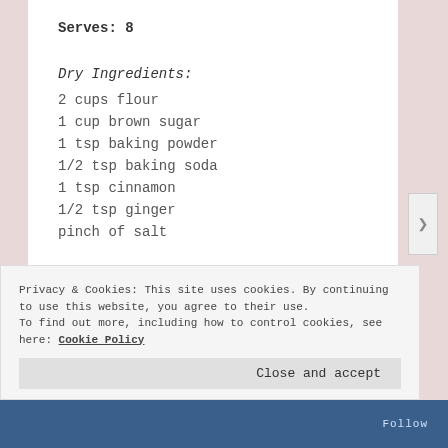Serves: 8
Dry Ingredients:
2 cups flour
1 cup brown sugar
1 tsp baking powder
1/2 tsp baking soda
1 tsp cinnamon
1/2 tsp ginger
pinch of salt
REPORT THIS AD
Privacy & Cookies: This site uses cookies. By continuing to use this website, you agree to their use. To find out more, including how to control cookies, see here: Cookie Policy
Close and accept
Follow